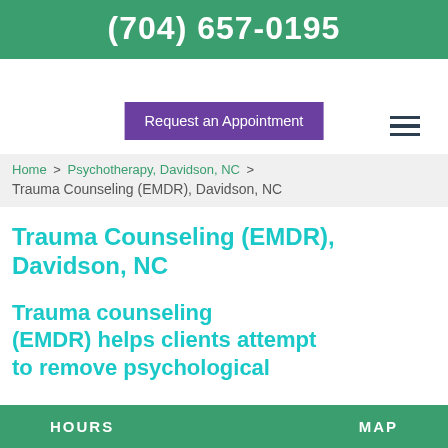(704) 657-0195
[Figure (screenshot): Purple 'Request an Appointment' button and hamburger menu icon on white navigation bar]
Home > Psychotherapy, Davidson, NC > Trauma Counseling (EMDR), Davidson, NC
Trauma Counseling (EMDR), Davidson, NC
Trauma counseling (EMDR) helps clients attempt to remove psychological
HOURS    MAP